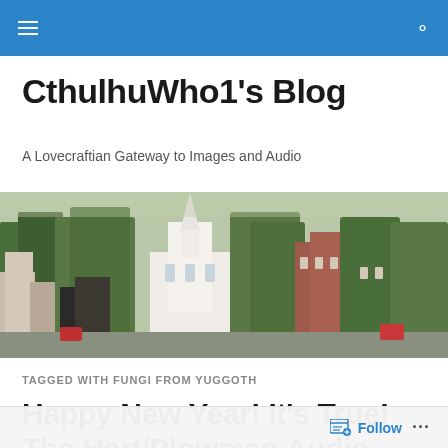CthulhuWho1's Blog — navigation bar
CthulhuWho1's Blog
A Lovecraftian Gateway to Images and Audio
[Figure (photo): Aerial photograph of a New England town center showing a white church steeple, green trees, and brick buildings]
TAGGED WITH FUNGI FROM YUGGOTH
Happy New Year! It's True! The Hart/Plowman Audio Production of H.P.
Follow ...